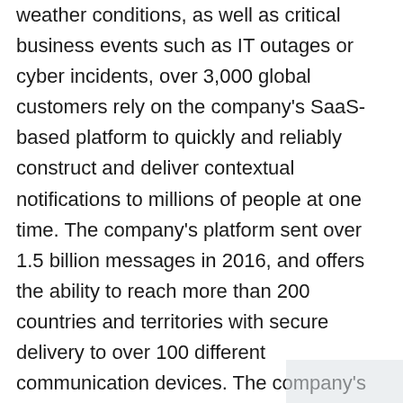weather conditions, as well as critical business events such as IT outages or cyber incidents, over 3,000 global customers rely on the company's SaaS-based platform to quickly and reliably construct and deliver contextual notifications to millions of people at one time. The company's platform sent over 1.5 billion messages in 2016, and offers the ability to reach more than 200 countries and territories with secure delivery to over 100 different communication devices. The company's critical communications and enterprise safety applications include Mass Notification, Incident Management, IT Alerting, Safety Connection™, Community Engagement™, Secure Messaging and Internet of Things, and are easy-to-use and deploy, secure, highly scalable and reliable. Everbridge serves 8 of the 10 largest U.S. cities, 8 of the 10 largest U.S.-based investment banks, all four of the largest global accounting firms, 24 of the 25 busiest North American airports and 6 of the 10 largest